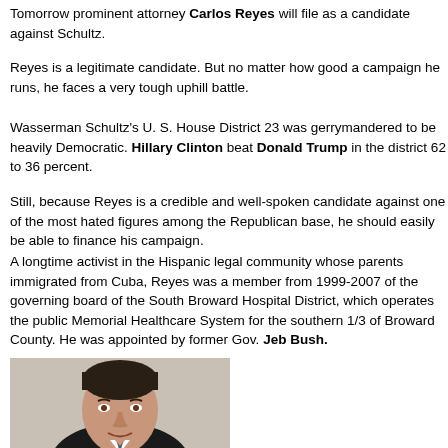Tomorrow prominent attorney Carlos Reyes will file as a candidate against Schultz.
Reyes is a legitimate candidate. But no matter how good a campaign he runs, he faces a very tough uphill battle.
Wasserman Schultz's U. S. House District 23 was gerrymandered to be heavily Democratic. Hillary Clinton beat Donald Trump in the district 62 to 36 percent.
Still, because Reyes is a credible and well-spoken candidate against one of the most hated figures among the Republican base, he should easily be able to finance his campaign.
A longtime activist in the Hispanic legal community whose parents immigrated from Cuba, Reyes was a member from 1999-2007 of the governing board of the South Broward Hospital District, which operates the public Memorial Healthcare System for the southern 1/3 of Broward County. He was appointed by former Gov. Jeb Bush.
[Figure (photo): Head-and-shoulders portrait photo of Carlos Reyes, a middle-aged man with dark hair combed back, wearing a dark suit, smiling slightly against a neutral background.]